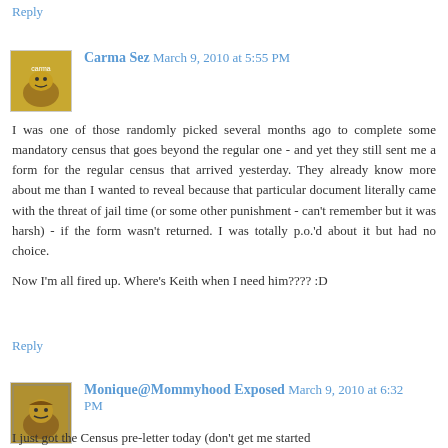Reply
Carma Sez March 9, 2010 at 5:55 PM
I was one of those randomly picked several months ago to complete some mandatory census that goes beyond the regular one - and yet they still sent me a form for the regular census that arrived yesterday. They already know more about me than I wanted to reveal because that particular document literally came with the threat of jail time (or some other punishment - can't remember but it was harsh) - if the form wasn't returned. I was totally p.o.'d about it but had no choice.

Now I'm all fired up. Where's Keith when I need him???? :D
Reply
Monique@Mommyhood Exposed March 9, 2010 at 6:32 PM
I just got the Census pre-letter today (don't get me started